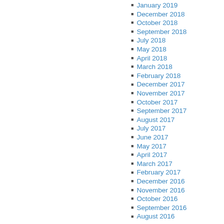January 2019
December 2018
October 2018
September 2018
July 2018
May 2018
April 2018
March 2018
February 2018
December 2017
November 2017
October 2017
September 2017
August 2017
July 2017
June 2017
May 2017
April 2017
March 2017
February 2017
December 2016
November 2016
October 2016
September 2016
August 2016